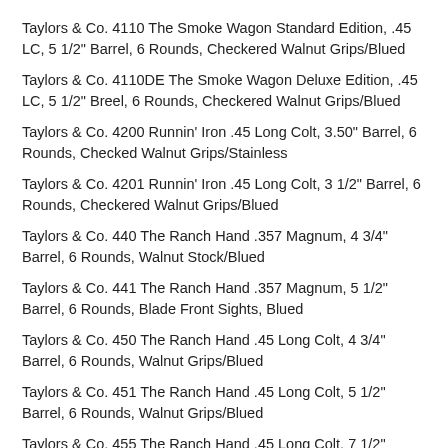Taylors & Co. 4110 The Smoke Wagon Standard Edition, .45 LC, 5 1/2" Barrel, 6 Rounds, Checkered Walnut Grips/Blued
Taylors & Co. 4110DE The Smoke Wagon Deluxe Edition, .45 LC, 5 1/2" Breel, 6 Rounds, Checkered Walnut Grips/Blued
Taylors & Co. 4200 Runnin' Iron .45 Long Colt, 3.50" Barrel, 6 Rounds, Checked Walnut Grips/Stainless
Taylors & Co. 4201 Runnin' Iron .45 Long Colt, 3 1/2" Barrel, 6 Rounds, Checkered Walnut Grips/Blued
Taylors & Co. 440 The Ranch Hand .357 Magnum, 4 3/4" Barrel, 6 Rounds, Walnut Stock/Blued
Taylors & Co. 441 The Ranch Hand .357 Magnum, 5 1/2" Barrel, 6 Rounds, Blade Front Sights, Blued
Taylors & Co. 450 The Ranch Hand .45 Long Colt, 4 3/4" Barrel, 6 Rounds, Walnut Grips/Blued
Taylors & Co. 451 The Ranch Hand .45 Long Colt, 5 1/2" Barrel, 6 Rounds, Walnut Grips/Blued
Taylors & Co. 455 The Ranch Hand .45 Long Colt, 7 1/2" Barrel, 6 Rounds, Walnut Grips/Blued